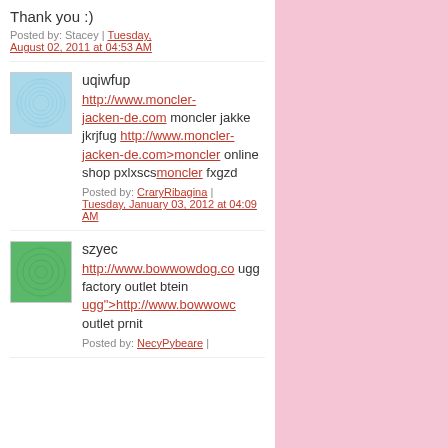Thank you :)
Posted by: Stacey | Tuesday, August 02, 2011 at 04:53 AM
[Figure (illustration): Blue circular fractal/spiral avatar image]
uqiwfup
http://www.moncler-jacken-de.com moncler jakke jkrjfug http://www.moncler-jacken-de.com>moncler online shop pxlxscsmoncler fxgzd
Posted by: CraryRibagina | Tuesday, January 03, 2012 at 04:09 AM
[Figure (illustration): Green circular spiral avatar image]
szyec
http://www.bowwowdog.co ugg factory outlet btein ugg">http://www.bowwowc outlet prnit
Posted by: NecyPybeare |